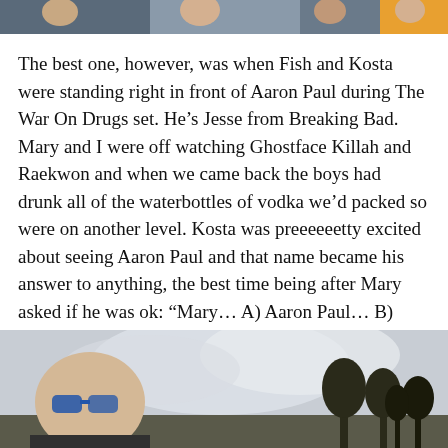[Figure (photo): Partial photo at top of page showing people, cropped, multicolored background]
The best one, however, was when Fish and Kosta were standing right in front of Aaron Paul during The War On Drugs set. He’s Jesse from Breaking Bad. Mary and I were off watching Ghostface Killah and Raekwon and when we came back the boys had drunk all of the waterbottles of vodka we’d packed so were on another level. Kosta was preeeeeetty excited about seeing Aaron Paul and that name became his answer to anything, the best time being after Mary asked if he was ok: “Mary… A) Aaron Paul… B) Aaron Paul)”. That became the quote of the festival. Now if we list anything we have to start at C because we all know what A and B are.
[Figure (photo): Outdoor photo at bottom of page showing a person with sunglasses on the left, cloudy sky, and silhouetted trees on the right]